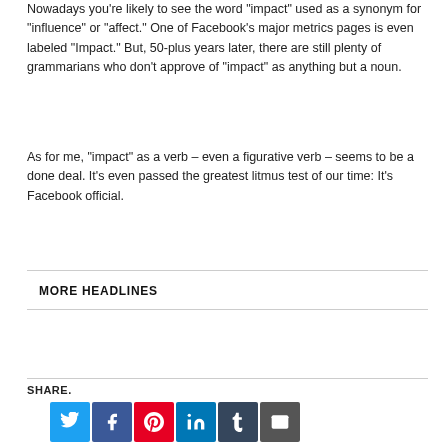Nowadays you’re likely to see the word “impact” used as a synonym for “influence” or “affect.” One of Facebook’s major metrics pages is even labeled “Impact.” But, 50-plus years later, there are still plenty of grammarians who don’t approve of “impact” as anything but a noun.
As for me, “impact” as a verb – even a figurative verb – seems to be a done deal. It’s even passed the greatest litmus test of our time: It’s Facebook official.
MORE HEADLINES
SHARE.